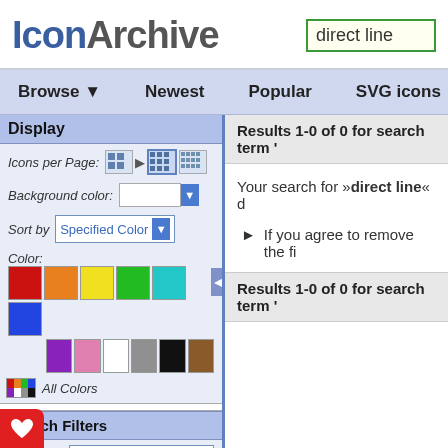IconArchive — search box: direct line
Browse ▼   Newest   Popular   SVG icons
Display
Icons per Page:
Background color:
Sort by   Specified Color
Color:
Search Filters
Size: Medium Icons [64-128
Category: Cartoon
e: Bold / Bordered
Results 1-0 of 0 for search term '
Your search for »direct line« d
If you agree to remove the fi
Results 1-0 of 0 for search term '